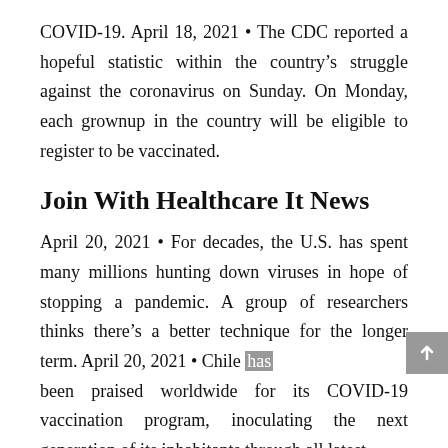COVID-19. April 18, 2021 • The CDC reported a hopeful statistic within the country's struggle against the coronavirus on Sunday. On Monday, each grownup in the country will be eligible to register to be vaccinated.
Join With Healthcare It News
April 20, 2021 • For decades, the U.S. has spent many millions hunting down viruses in hope of stopping a pandemic. A group of researchers thinks there's a better technique for the longer term. April 20, 2021 • Chile has been praised worldwide for its COVID-19 vaccination program, inoculating the next generation of its inhabitants through all latest